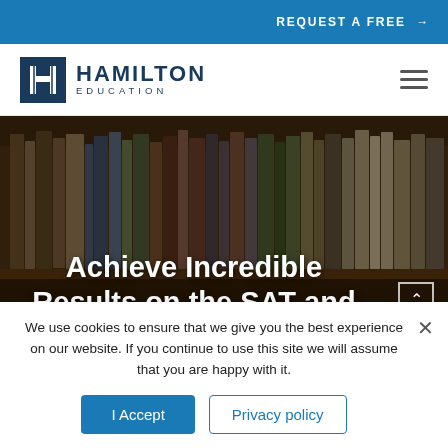REQUEST A FREE →
[Figure (logo): Hamilton Education logo with blue H icon and text HAMILTON EDUCATION]
[Figure (photo): Background photo of bookshelf with books, dark/moody tone]
Achieve Incredible Results on the SAT and
We use cookies to ensure that we give you the best experience on our website. If you continue to use this site we will assume that you are happy with it.
I Accept | Privacy policy